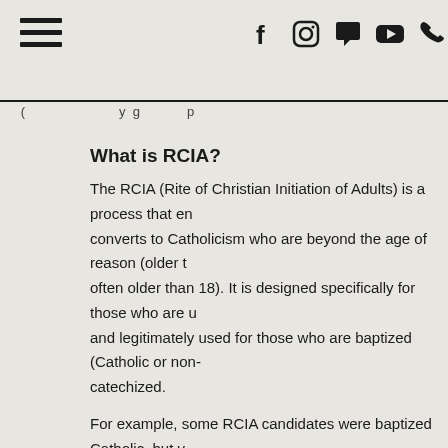Navigation header with hamburger menu and social icons (Facebook, Instagram, chat, YouTube, phone)
What is RCIA?
The RCIA (Rite of Christian Initiation of Adults) is a process that enrolls converts to Catholicism who are beyond the age of reason (older than 7, often older than 18). It is designed specifically for those who are unbaptized and legitimately used for those who are baptized (Catholic or non-Catholic) but uncatechized.
For example, some RCIA candidates were baptized Catholic, but were raised without the Faith. Other candidates may be baptized non-Catholic Christian and desire to become a Catholic. For those who have been baptized Catholic and raised Catholic through religious education, or Catholic schooling, a Confirmation program is a more fitting program.
What does the process look like?
The RCIA program is organized and run by lay members of our pa...